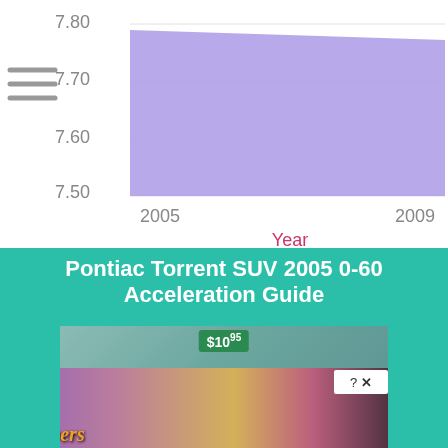[Figure (area-chart): ]
Pontiac Torrent SUV 2005 0-60 Acceleration Guide
[Figure (photo): Advertisement overlay showing romance game 'Whispers' with illustrated characters and close button]